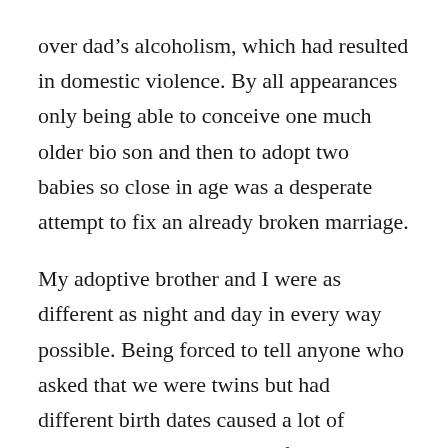over dad's alcoholism, which had resulted in domestic violence. By all appearances only being able to conceive one much older bio son and then to adopt two babies so close in age was a desperate attempt to fix an already broken marriage.
My adoptive brother and I were as different as night and day in every way possible. Being forced to tell anyone who asked that we were twins but had different birth dates caused a lot of unnecessary gossip and confusion as we got older. I still have friends from Junior High who ask me on Facebook if we were really twins. There is no simple explanation as to why I wouldn't have been telling the truth. Our identities were so closely meshed together that our individuality often got lost.